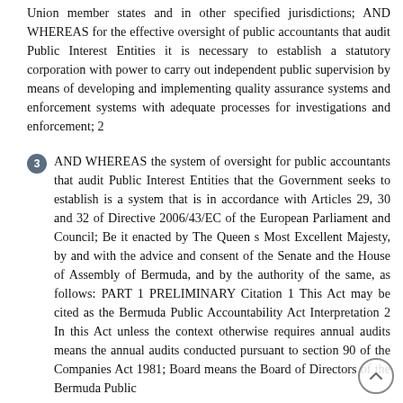Union member states and in other specified jurisdictions; AND WHEREAS for the effective oversight of public accountants that audit Public Interest Entities it is necessary to establish a statutory corporation with power to carry out independent public supervision by means of developing and implementing quality assurance systems and enforcement systems with adequate processes for investigations and enforcement; 2
3   AND WHEREAS the system of oversight for public accountants that audit Public Interest Entities that the Government seeks to establish is a system that is in accordance with Articles 29, 30 and 32 of Directive 2006/43/EC of the European Parliament and Council; Be it enacted by The Queen s Most Excellent Majesty, by and with the advice and consent of the Senate and the House of Assembly of Bermuda, and by the authority of the same, as follows: PART 1 PRELIMINARY Citation 1 This Act may be cited as the Bermuda Public Accountability Act Interpretation 2 In this Act unless the context otherwise requires annual audits means the annual audits conducted pursuant to section 90 of the Companies Act 1981; Board means the Board of Directors of the Bermuda Public